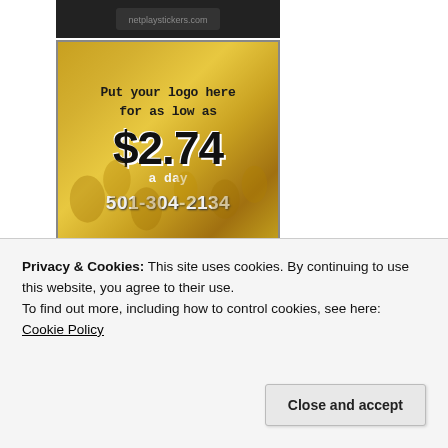[Figure (photo): Dark/black image strip at the top center, partially visible]
[Figure (infographic): Advertisement banner with yellow flower field background. Text reads: 'Put your logo here for as low as $2.74 a day 501-304-2134']
[Figure (illustration): Partial view of a craft/sewing themed image with scissors, comb, and spool icons on a light pink/beige background]
Privacy & Cookies: This site uses cookies. By continuing to use this website, you agree to their use.
To find out more, including how to control cookies, see here: Cookie Policy
Close and accept